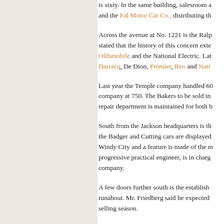is sixty. In the same building, salesroom a and the Fal Motor Car Co., distributing th
Across the avenue at No. 1221 is the Ralp stated that the history of this concern exte Oldsmobile and the National Electric. Lat Darracq, De Dion, Premier, Reo and Nati
Last year the Temple company handled 60 company at 750. The Bakers to be sold in repair department is maintained for both b
South from the Jackson headquarters is th the Badger and Cutting cars are displayed Windy City and a feature is made of the m progressive practical engineer, is in charg company.
A few doors further south is the establish runabout. Mr. Friedberg said he expected selling season.
The Chicago branch of the Winton Motor